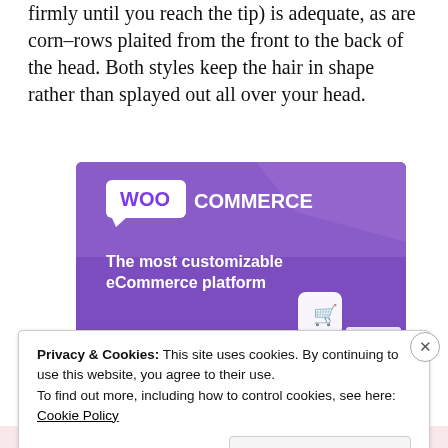firmly until you reach the tip) is adequate, as are corn-rows plaited from the front to the back of the head. Both styles keep the hair in shape rather than splayed out all over your head.
[Figure (screenshot): WooCommerce advertisement banner with purple background showing logo and text 'The most customizable eCommerce platform' with a shopping cart icon and UI mockup elements including a 'Start a new store' button]
Privacy & Cookies: This site uses cookies. By continuing to use this website, you agree to their use.
To find out more, including how to control cookies, see here: Cookie Policy
Close and accept